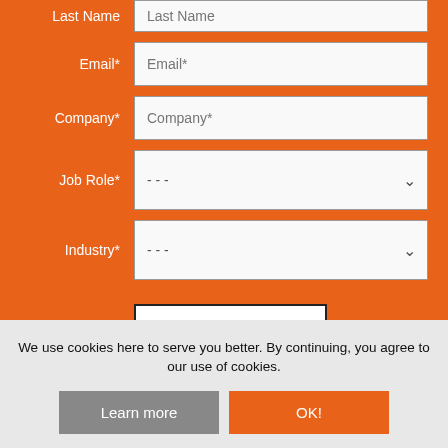[Figure (screenshot): Orange subscription form with fields for Last Name (partially visible at top), Email*, Company*, Job Role* (dropdown), Industry* (dropdown), and a SUBSCRIBE button. Below the form is a cookie consent bar with text and two buttons: Learn more and OK!]
We use cookies here to serve you better. By continuing, you agree to our use of cookies.
Learn more
OK!